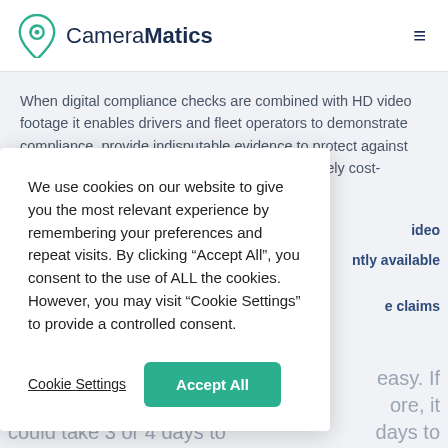CameraMatics
When digital compliance checks are combined with HD video footage it enables drivers and fleet operators to demonstrate compliance, provide indisputable evidence to protect against false claims and resolve genuine claims in a timely cost-efficient manner.
We use cookies on our website to give you the most relevant experience by remembering your preferences and repeat visits. By clicking “Accept All”, you consent to the use of ALL the cookies. However, you may visit "Cookie Settings" to provide a controlled consent.
Cookie Settings  Accept All